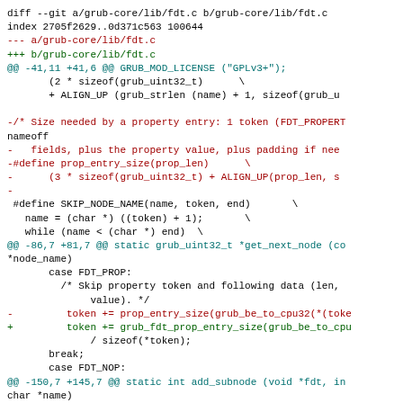diff --git a/grub-core/lib/fdt.c b/grub-core/lib/fdt.c
index 2705f2629..0d371c563 100644
--- a/grub-core/lib/fdt.c
+++ b/grub-core/lib/fdt.c
@@ -41,11 +41,6 @@ GRUB_MOD_LICENSE ("GPLv3+");
        (2 * sizeof(grub_uint32_t)      \
        + ALIGN_UP (grub_strlen (name) + 1, sizeof(grub_u

-/* Size needed by a property entry: 1 token (FDT_PROPERT
nameoff
-   fields, plus the property value, plus padding if nee
-#define prop_entry_size(prop_len)      \
-      (3 * sizeof(grub_uint32_t) + ALIGN_UP(prop_len, s
-
 #define SKIP_NODE_NAME(name, token, end)       \
   name = (char *) ((token) + 1);       \
   while (name < (char *) end)  \
@@ -86,7 +81,7 @@ static grub_uint32_t *get_next_node (co
*node_name)
        case FDT_PROP:
          /* Skip property token and following data (len,
               value). */
-         token += prop_entry_size(grub_be_to_cpu32(*(toke
+         token += grub_fdt_prop_entry_size(grub_be_to_cpu
               / sizeof(*token);
        break;
        case FDT_NOP:
@@ -150,7 +145,7 @@ static int add_subnode (void *fdt, in
char *name)